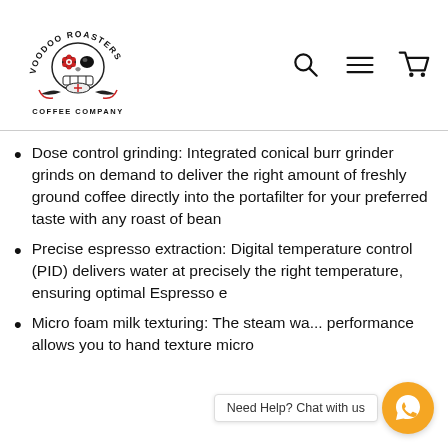[Figure (logo): Voodoo Roasters Coffee Company logo — sugar skull with decorative elements, 'VOODOO ROASTERS' arched above and 'COFFEE COMPANY' below]
Dose control grinding: Integrated conical burr grinder grinds on demand to deliver the right amount of freshly ground coffee directly into the portafilter for your preferred taste with any roast of bean
Precise espresso extraction: Digital temperature control (PID) delivers water at precisely the right temperature, ensuring optimal Espresso e
Micro foam milk texturing: The steam wa... performance allows you to hand texture micro